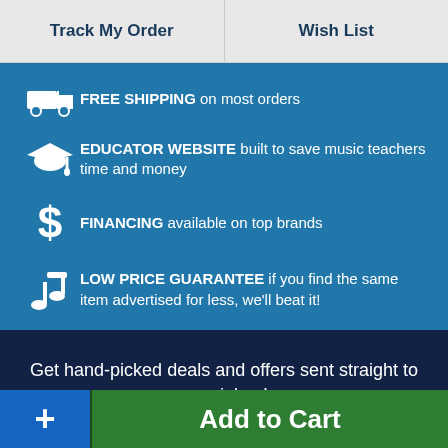Track My Order | Wish List
FREE SHIPPING on most orders
EDUCATOR WEBSITE built to save music teachers time and money
FINANCING available on top brands
LOW PRICE GUARANTEE if you find the same item advertised for less, we'll beat it!
Get hand-picked deals and offers sent straight to your inbox!
Sign up for the latest deals!
Add to Cart